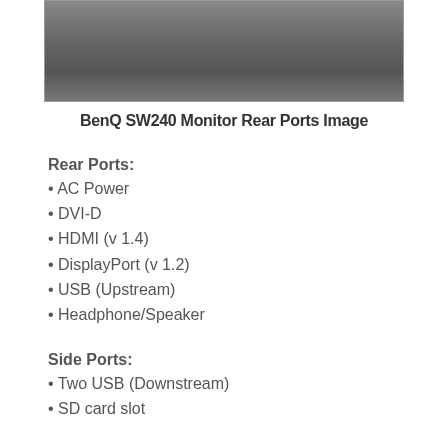[Figure (photo): BenQ SW240 Monitor rear view photo showing the back panel with ports]
BenQ SW240 Monitor Rear Ports Image
Rear Ports:
• AC Power
• DVI-D
• HDMI (v 1.4)
• DisplayPort (v 1.2)
• USB (Upstream)
• Headphone/Speaker
Side Ports:
• Two USB (Downstream)
• SD card slot
If you're using a dual monitor arrangement, access to the left ports is a breeze. If your setup is like mine, that is the SW240 on the right, then connecting to the